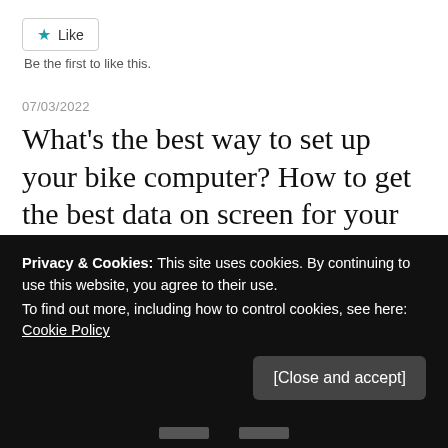[Figure (other): Like button with a teal star icon and the text 'Like']
Be the first to like this.
07/03/2022
What's the best way to set up your bike computer? How to get the best data on screen for your riding
We through the different metrics you can look at, why you might want to choose them, and how to get the best from your bike computer
Privacy & Cookies: This site uses cookies. By continuing to use this website, you agree to their use.
To find out more, including how to control cookies, see here: Cookie Policy
[Close and accept]